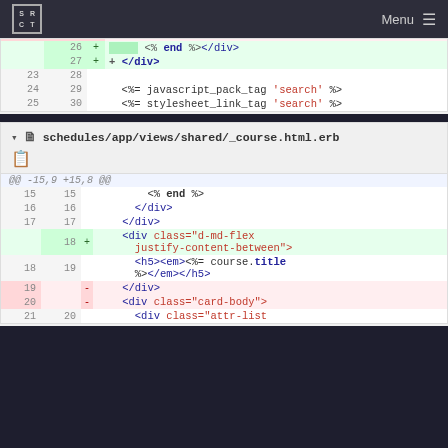SRCT | Menu
[Figure (screenshot): Code diff view showing two file diffs. First diff (partial): lines 26-27 added with end %></div> and </div>, lines 23-25 context with javascript_pack_tag 'search' and stylesheet_link_tag 'search'. Second diff: schedules/app/views/shared/_course.html.erb with lines 15-21 showing additions and deletions.]